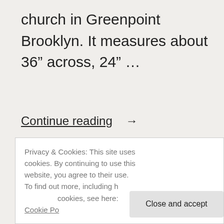church in Greenpoint Brooklyn. It measures about 36" across, 24" …
Continue reading →
lydiahs   July 24, 2018   Uncategorized
antique, antique furniture, antique store, brooklyn, desk, dining, furniture, shopping, storage, vintage
Privacy & Cookies: This site uses cookies. By continuing to use this website, you agree to their use.
To find out more, including h… cookies, see here: Cookie Po…
Close and accept